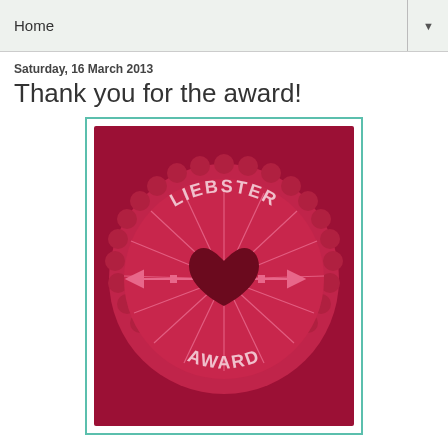Home
Saturday, 16 March 2013
Thank you for the award!
[Figure (illustration): Liebster Award badge: a red scalloped circular seal with 'LIEBSTER' text arched at top and 'AWARD' arched at bottom, a dark red heart in the center with pink radiating lines and pink arrows passing through.]